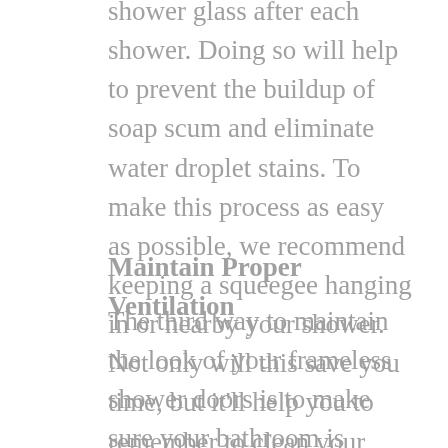shower glass after each shower. Doing so will help to prevent the buildup of soap scum and eliminate water droplet stains. To make this process as easy as possible, we recommend keeping a squeegee hanging in or nearby your shower. Not only will this save you time, but it'll help you to remember to clean your shower glass after each use.
Maintain Proper Ventilation
The third way to maintain the look of your frameless shower doors is to make sure your bathroom is properly ventilated. While this type of enclosure may have fewer places in which mold and mildew can develop, the moist environment can still invite such